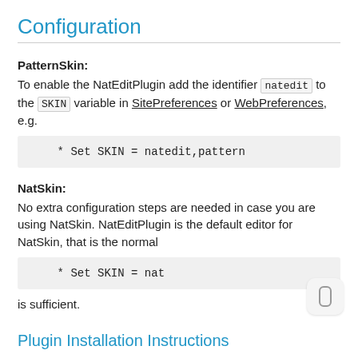Configuration
PatternSkin:
To enable the NatEditPlugin add the identifier natedit to the SKIN variable in SitePreferences or WebPreferences, e.g.
NatSkin:
No extra configuration steps are needed in case you are using NatSkin. NatEditPlugin is the default editor for NatSkin, that is the normal
is sufficient.
Plugin Installation Instructions